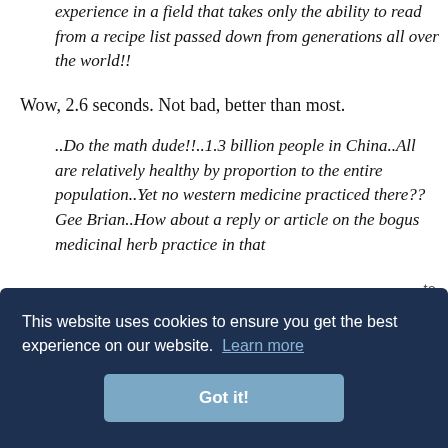experience in a field that takes only the ability to read from a recipe list passed down from generations all over the world!!
Wow, 2.6 seconds. Not bad, better than most.
..Do the math dude!!..1.3 billion people in China..All are relatively healthy by proportion to the entire population..Yet no western medicine practiced there?? Gee Brian..How about a reply or article on the bogus medicinal herb practice in that
[Figure (screenshot): Cookie consent overlay with dark navy background. Text reads: 'This website uses cookies to ensure you get the best experience on our website. Learn more' with a 'Got it!' button.]
ta
urvey,
in recent decades many Chinese have now had